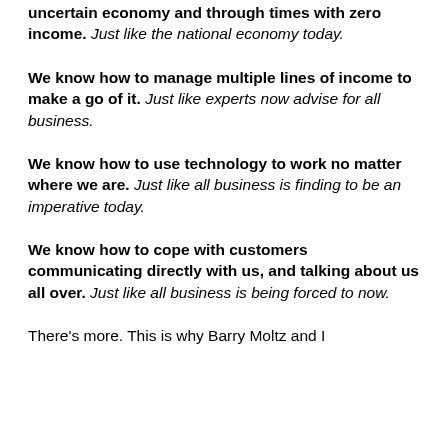uncertain economy and through times with zero income. Just like the national economy today.
We know how to manage multiple lines of income to make a go of it. Just like experts now advise for all business.
We know how to use technology to work no matter where we are. Just like all business is finding to be an imperative today.
We know how to cope with customers communicating directly with us, and talking about us all over. Just like all business is being forced to now.
There's more. This is why Barry Moltz and I